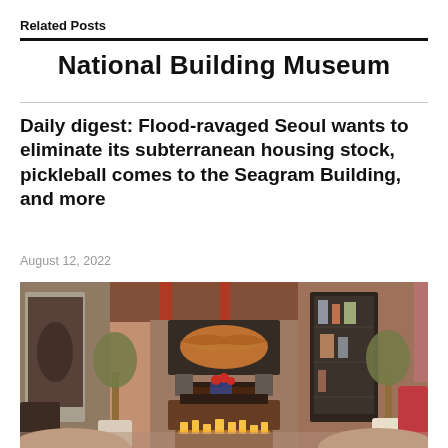Related Posts
National Building Museum
Daily digest: Flood-ravaged Seoul wants to eliminate its subterranean housing stock, pickleball comes to the Seagram Building, and more
August 12, 2022
[Figure (photo): Interior room photo showing an artistic lounge space with a large lips artwork above a fireplace, potted olive trees, red roses, glowing candles in a wooden crate, and artworks on the walls.]